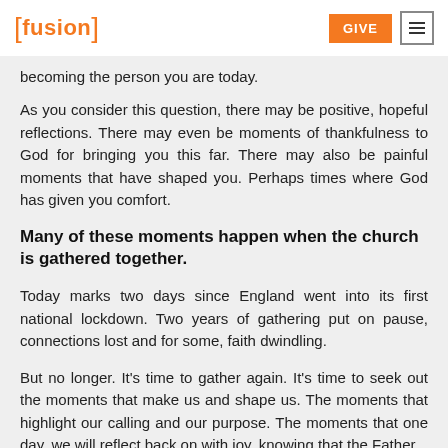[fusion] GIVE ≡
becoming the person you are today.
As you consider this question, there may be positive, hopeful reflections. There may even be moments of thankfulness to God for bringing you this far. There may also be painful moments that have shaped you. Perhaps times where God has given you comfort.
Many of these moments happen when the church is gathered together.
Today marks two days since England went into its first national lockdown. Two years of gathering put on pause, connections lost and for some, faith dwindling.
But no longer. It's time to gather again. It's time to seek out the moments that make us and shape us. The moments that highlight our calling and our purpose. The moments that one day, we will reflect back on with joy, knowing that the Father